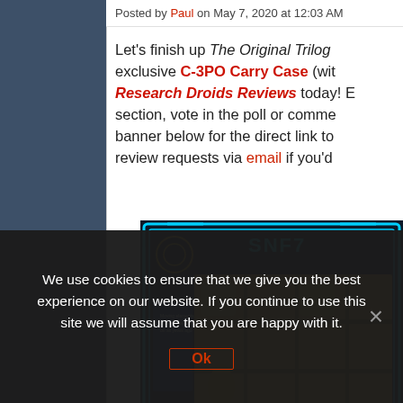Posted by Paul on May 7, 2020 at 12:03 AM
Let's finish up The Original Trilogy exclusive C-3PO Carry Case (with Research Droids Reviews today! Ed section, vote in the poll or comme banner below for the direct link to review requests via email if you'd
[Figure (photo): Star Wars C-3PO Carry Case product image showing a display case with action figures, blue neon border design, Jedi symbol, and SNF71 text visible]
We use cookies to ensure that we give you the best experience on our website. If you continue to use this site we will assume that you are happy with it.